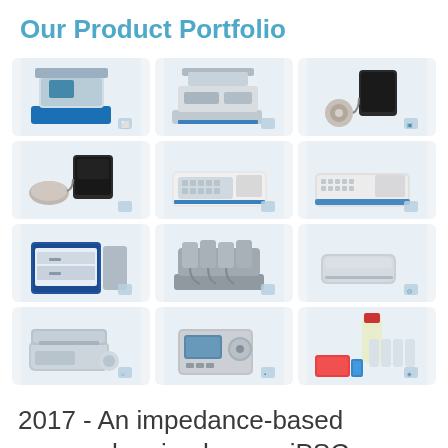Our Product Portfolio
[Figure (photo): Grid of 12 laboratory/scientific instrument product images arranged in 4 rows of 3]
2017 - An impedance-based approach using human iPSC-